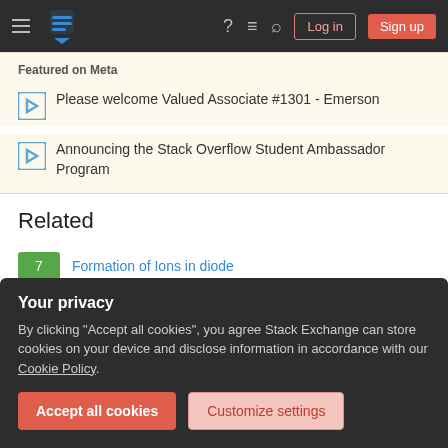Stack Exchange navigation bar with Log in and Sign up buttons
Featured on Meta
Please welcome Valued Associate #1301 - Emerson
Announcing the Stack Overflow Student Ambassador Program
Related
7 Formation of Ions in diode
0 How is the PN junction formed?
Your privacy
By clicking "Accept all cookies", you agree Stack Exchange can store cookies on your device and disclose information in accordance with our Cookie Policy.
Accept all cookies   Customize settings